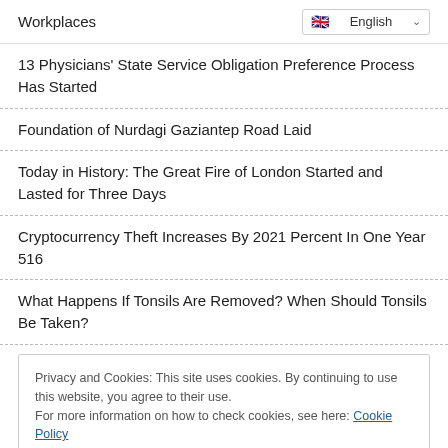Workplaces
13 Physicians' State Service Obligation Preference Process Has Started
Foundation of Nurdagi Gaziantep Road Laid
Today in History: The Great Fire of London Started and Lasted for Three Days
Cryptocurrency Theft Increases By 2021 Percent In One Year 516
What Happens If Tonsils Are Removed? When Should Tonsils Be Taken?
Privacy and Cookies: This site uses cookies. By continuing to use this website, you agree to their use.
For more information on how to check cookies, see here: Cookie Policy
Started